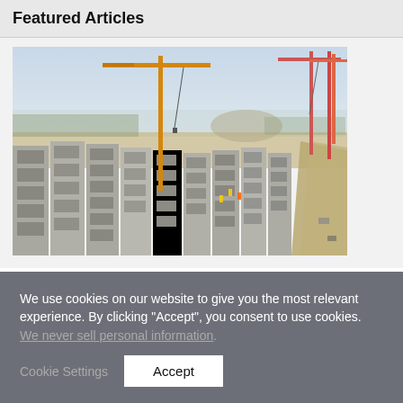Featured Articles
[Figure (photo): Aerial view of a large construction site showing multiple multi-story residential buildings under construction with concrete frames, two large yellow tower cranes, workers on site, and an open landscape in the background.]
We use cookies on our website to give you the most relevant experience. By clicking “Accept”, you consent to use cookies. We never sell personal information.
Cookie Settings
Accept